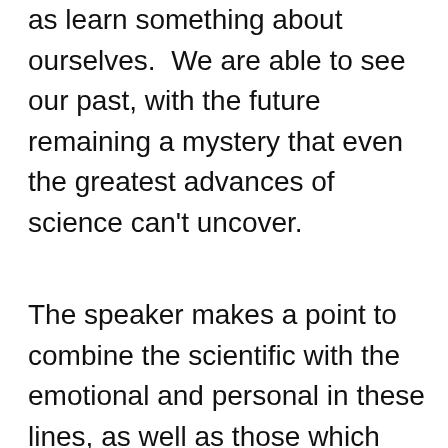as learn something about ourselves.  We are able to see our past, with the future remaining a mystery that even the greatest advances of science can't uncover.
The speaker makes a point to combine the scientific with the emotional and personal in these lines, as well as those which follow. He's speaking about the universe as a whole as well as one's personal experience in the world. These images of light and history speak to one's experience within the universe as well as how it physically came together.